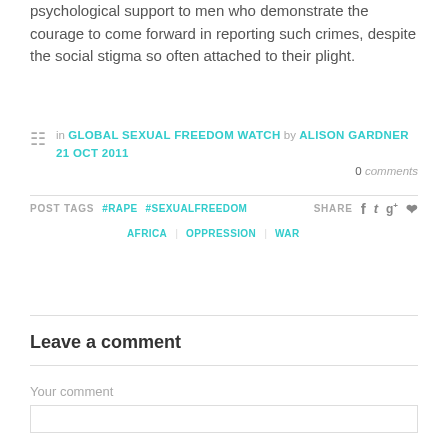psychological support to men who demonstrate the courage to come forward in reporting such crimes, despite the social stigma so often attached to their plight.
in GLOBAL SEXUAL FREEDOM WATCH by ALISON GARDNER 21 OCT 2011  0 comments
POST TAGS  #RAPE  #SEXUALFREEDOM  SHARE  f  t  g+  p  AFRICA  OPPRESSION  WAR
Leave a comment
Your comment